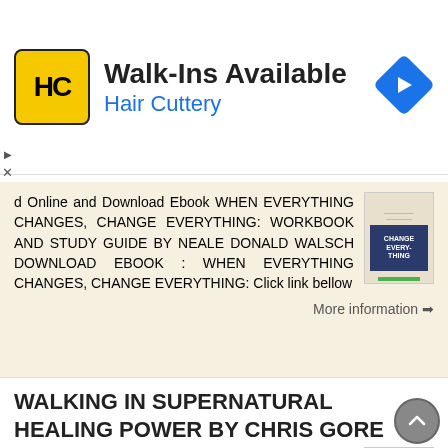[Figure (advertisement): Hair Cuttery ad banner with yellow HC logo, 'Walk-Ins Available' heading, 'Hair Cuttery' subtitle in blue, and a blue diamond navigation arrow icon on the right.]
d Online and Download Ebook WHEN EVERYTHING CHANGES, CHANGE EVERYTHING: WORKBOOK AND STUDY GUIDE BY NEALE DONALD WALSCH DOWNLOAD EBOOK : WHEN EVERYTHING CHANGES, CHANGE EVERYTHING: Click link bellow
More information ➔
WALKING IN SUPERNATURAL HEALING POWER BY CHRIS GORE
WALKING IN SUPERNATURAL HEALING POWER BY CHRIS GORE DOWNLOAD EBOOK : WALKING IN SUPERNATURAL HEALING POWER BY CHRIS Click link bellow and free register to download ebook: WALKING IN